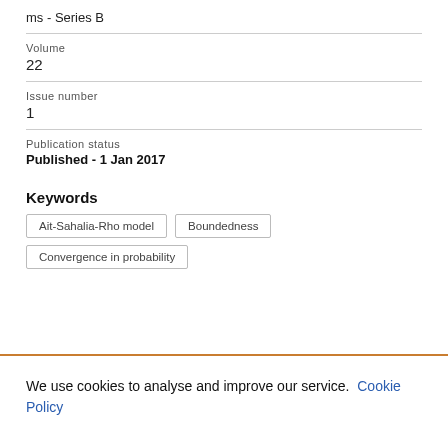ms - Series B
Volume
22
Issue number
1
Publication status
Published - 1 Jan 2017
Keywords
Ait-Sahalia-Rho model
Boundedness
Convergence in probability
We use cookies to analyse and improve our service. Cookie Policy